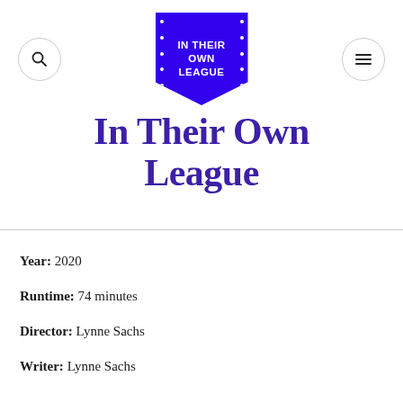[Figure (logo): In Their Own League logo: blue pentagon/shield shape with white text reading IN THEIR OWN LEAGUE with dots on sides]
In Their Own League
Year: 2020
Runtime: 74 minutes
Director: Lynne Sachs
Writer: Lynne Sachs